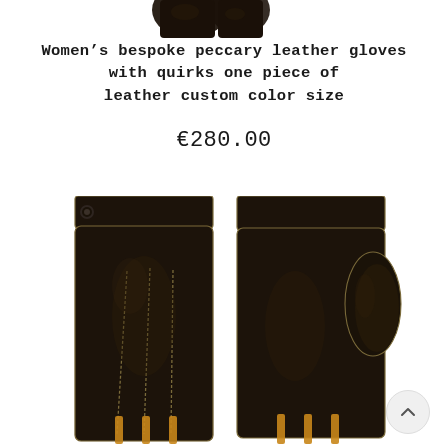[Figure (photo): Top portion of dark brown/black leather gloves, partially visible at top of page]
Women’s bespoke peccary leather gloves with quirks one piece of leather custom color size
€280.00
[Figure (photo): Two dark brown/black peccary leather gloves shown side by side — left glove showing palm side with three finger stitching lines and tan leather between fingers, right glove showing back with thumb gusset visible, both with tan stitching and wrist strap]